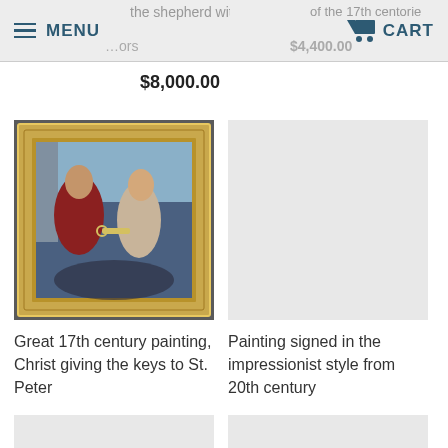MENU | CART
$8,000.00
[Figure (photo): Oil painting in ornate gold frame showing Christ giving keys to St. Peter, 17th century style]
[Figure (photo): Placeholder image for painting signed in impressionist style from 20th century]
Great 17th century painting, Christ giving the keys to St. Peter
Painting signed in the impressionist style from 20th century
$12,550.00
$1,400.00
[Figure (photo): Placeholder thumbnail bottom left]
[Figure (photo): Placeholder thumbnail bottom right]